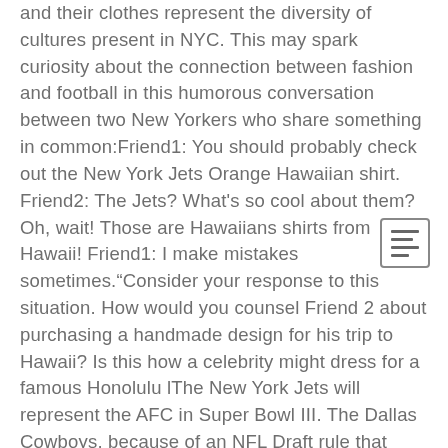and their clothes represent the diversity of cultures present in NYC. This may spark curiosity about the connection between fashion and football in this humorous conversation between two New Yorkers who share something in common:Friend1: You should probably check out the New York Jets Orange Hawaiian shirt. Friend2: The Jets? What's so cool about them? Oh, wait! Those are Hawaiians shirts from Hawaii! Friend1: I make mistakes sometimes.“Consider your response to this situation. How would you counsel Friend 2 about purchasing a handmade design for his trip to Hawaii? Is this how a celebrity might dress for a famous Honolulu lThe New York Jets will represent the AFC in Super Bowl III. The Dallas Cowboys, because of an NFL Draft rule that called for a three-day gap between the end of college football’s Rose Bowl and the start of the NFL draft, were prohibited from participating In 1963, New Orleans Saints Quarterback Archie Manning completed 116 passes (a